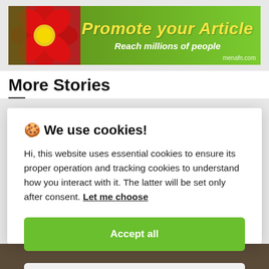[Figure (illustration): Promotional banner for 'menafn.com' with a red flower on the left and green background. Text reads 'Promote your Article' in yellow italic bold font and 'Reach millions of people' in white below it. 'menafn.com' appears bottom right.]
More Stories
🍪 We use cookies!

Hi, this website uses essential cookies to ensure its proper operation and tracking cookies to understand how you interact with it. The latter will be set only after consent. Let me choose
Accept all
Reject all